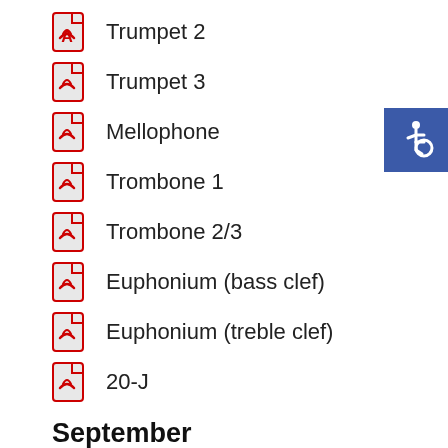Trumpet 2
Trumpet 3
Mellophone
Trombone 1
Trombone 2/3
Euphonium (bass clef)
Euphonium (treble clef)
20-J
September
Flute
[Figure (logo): Accessibility icon - white wheelchair symbol on blue background]